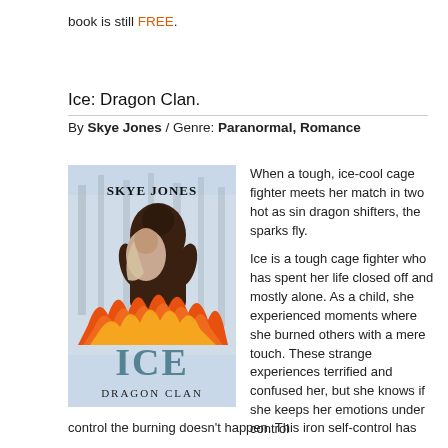book is still FREE.
Ice: Dragon Clan.
By Skye Jones / Genre: Paranormal, Romance
[Figure (illustration): Book cover for 'Ice: Dragon Clan' by Skye Jones, showing two figures embracing surrounded by flames, with the title ICE and subtitle DRAGON CLAN displayed.]
When a tough, ice-cool cage fighter meets her match in two hot as sin dragon shifters, the sparks fly.

Ice is a tough cage fighter who has spent her life closed off and mostly alone. As a child, she experienced moments where she burned others with a mere touch. These strange experiences terrified and confused her, but she knows if she keeps her emotions under control the burning doesn't happen. This iron self-control has